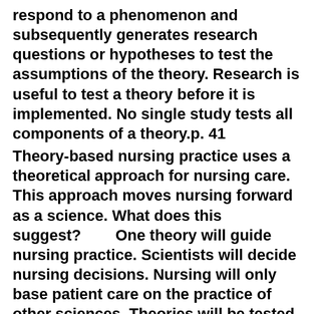respond to a phenomenon and subsequently generates research questions or hypotheses to test the assumptions of the theory. Research is useful to test a theory before it is implemented. No single study tests all components of a theory.p. 41
Theory-based nursing practice uses a theoretical approach for nursing care. This approach moves nursing forward as a science. What does this suggest?        One theory will guide nursing practice. Scientists will decide nursing decisions. Nursing will only base patient care on the practice of other sciences. Theories will be tested to describe or predict patient outcomes. 4Rationale        There are multiple theories for the practice of nursing; these theories are tested to develop the evidence to describe or predict patient outcomes.p. 41, 42
Which statements apply to theory generation?